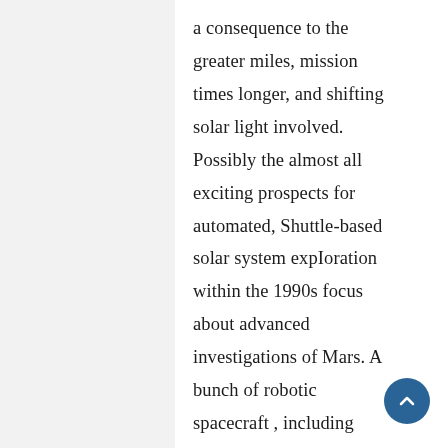a consequence to the greater miles, mission times longer, and shifting solar light involved. Possibly the almost all exciting prospects for automated, Shuttle-based solar system expIoration within the 1990s focus about advanced investigations of Mars. A bunch of robotic spacecraft , including orbitérs , landers , and rovers , have got been launched toward Mars since the 1960s. If successful, first trials aboard Shuttle-missions...